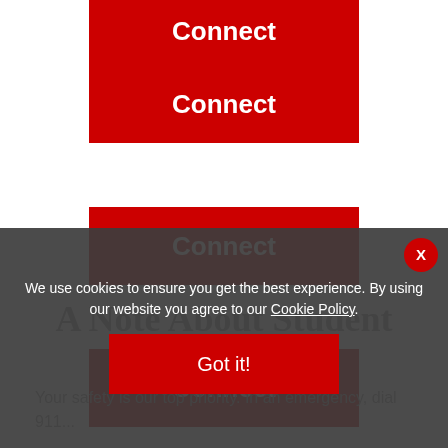[Figure (screenshot): Red 'Connect' button (top, partially visible)]
[Figure (screenshot): Red 'Connect' button (second)]
[Figure (screenshot): Red 'Connect' button (third)]
[Figure (screenshot): Red 'Connect' button (fourth)]
A Note About Student Safety...
Your safety is our top priority. In an emergency, dial 9...
We use cookies to ensure you get the best experience. By using our website you agree to our Cookie Policy.
[Figure (screenshot): Got it! button for cookie consent]